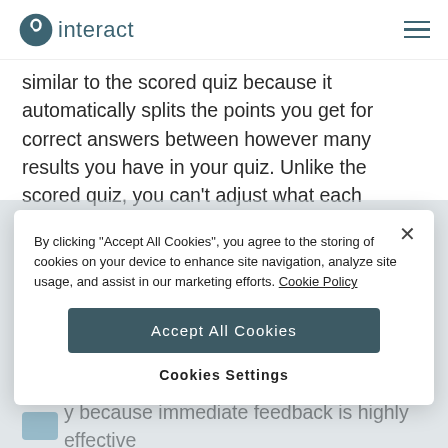interact
similar to the scored quiz because it automatically splits the points you get for correct answers between however many results you have in your quiz. Unlike the scored quiz, you can't adjust what each correct
By clicking "Accept All Cookies", you agree to the storing of cookies on your device to enhance site navigation, analyze site usage, and assist in our marketing efforts. Cookie Policy
Accept All Cookies
Cookies Settings
y because immediate feedback is highly effective